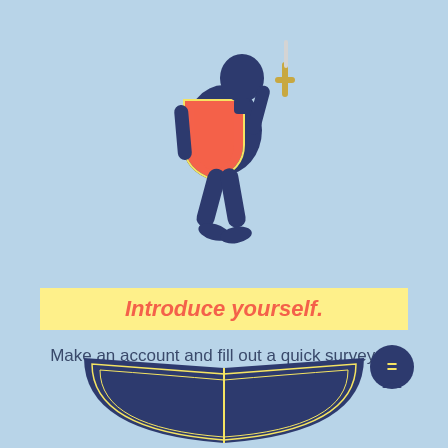[Figure (illustration): A cartoon knight/warrior figure in dark navy blue, walking and holding a pink/red shield and sword, flat design style on light blue background]
Introduce yourself.
Make an account and fill out a quick survey so we can get to know you!
[Figure (illustration): An open book illustration in navy blue with yellow outline lines, and a dark navy speech/chat bubble icon with an equals sign on the right side]